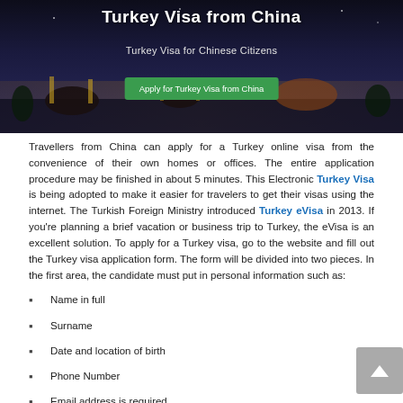[Figure (photo): Banner image showing Turkey landscape/mosque at night with title 'Turkey Visa from China', subtitle 'Turkey Visa for Chinese Citizens', and a green 'Apply for Turkey Visa from China' button]
Travellers from China can apply for a Turkey online visa from the convenience of their own homes or offices. The entire application procedure may be finished in about 5 minutes. This Electronic Turkey Visa is being adopted to make it easier for travelers to get their visas using the internet. The Turkish Foreign Ministry introduced Turkey eVisa in 2013. If you're planning a brief vacation or business trip to Turkey, the eVisa is an excellent solution. To apply for a Turkey visa, go to the website and fill out the Turkey visa application form. The form will be divided into two pieces. In the first area, the candidate must put in personal information such as:
Name in full
Surname
Date and location of birth
Phone Number
Email address is required.
A valid passport numbers